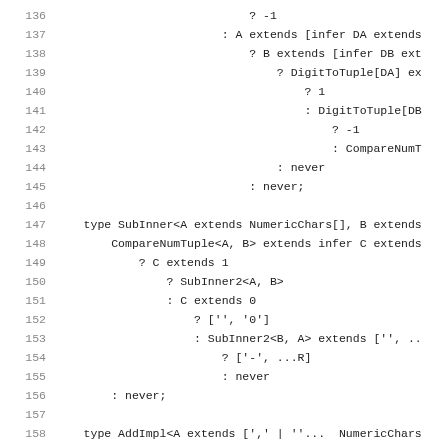Code listing lines 136-158 (TypeScript type definitions)
136    ? -1
137    : A extends [infer DA extends
138        ? B extends [infer DB ext
139            ? DigitToTuple[DA] ex
140                ? 1
141                : DigitToTuple[DB
142                    ? -1
143                    : CompareNumT
144            : never
145        : never;
146
147    type SubInner<A extends NumericChars[], B extends
148        CompareNumTuple<A, B> extends infer C extends
149            ? C extends 1
150                ? SubInner2<A, B>
151                : C extends 0
152                    ? ['', '0']
153                    : SubInner2<B, A> extends ['', ..
154                        ? ['-', ...R]
155                        : never
156        : never;
157
158    type AddImpl<A extends [',' | ''...  NumericChars